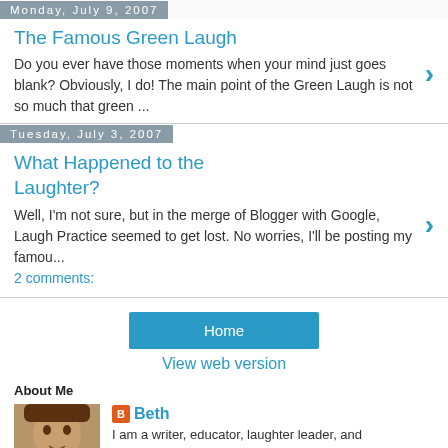Monday, July 9, 2007
The Famous Green Laugh
Do you ever have those moments when your mind just goes blank? Obviously, I do! The main point of the Green Laugh is not so much that green ...
Tuesday, July 3, 2007
What Happened to the Laughter?
Well, I'm not sure, but in the merge of Blogger with Google, Laugh Practice seemed to get lost. No worries, I'll be posting my famou...
2 comments:
Home
View web version
About Me
Beth
I am a writer, educator, laughter leader, and